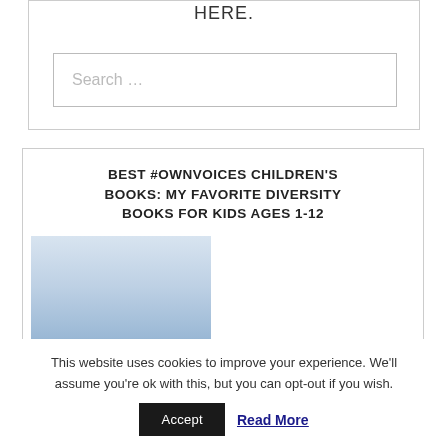HERE.
[Figure (screenshot): Search input field with placeholder text 'Search ...']
BEST #OWNVOICES CHILDREN'S BOOKS: MY FAVORITE DIVERSITY BOOKS FOR KIDS AGES 1-12
[Figure (illustration): Book cover image for 'Best #OwnVoices Children's Books: My Favorite Diversity Books for Kids Ages 1-12' showing sky-blue gradient background with bold white text overlay]
This website uses cookies to improve your experience. We'll assume you're ok with this, but you can opt-out if you wish.
Accept   Read More